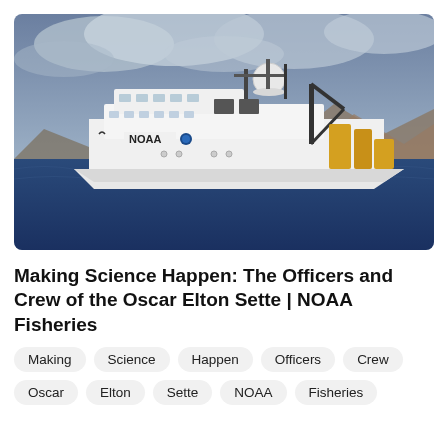[Figure (photo): A white NOAA research vessel (Oscar Elton Sette) with 'NOAA' written on the hull, at sea with mountains visible in the background under a cloudy sky. The ship has various scientific equipment including a dome, cranes with yellow equipment, and multiple masts.]
Making Science Happen: The Officers and Crew of the Oscar Elton Sette | NOAA Fisheries
Making
Science
Happen
Officers
Crew
Oscar
Elton
Sette
NOAA
Fisheries